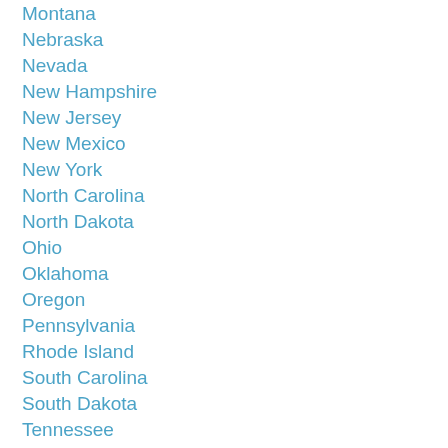Montana
Nebraska
Nevada
New Hampshire
New Jersey
New Mexico
New York
North Carolina
North Dakota
Ohio
Oklahoma
Oregon
Pennsylvania
Rhode Island
South Carolina
South Dakota
Tennessee
Texas
Utah